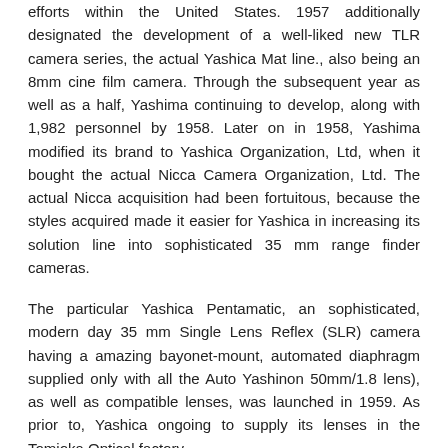efforts within the United States. 1957 additionally designated the development of a well-liked new TLR camera series, the actual Yashica Mat line., also being an 8mm cine film camera. Through the subsequent year as well as a half, Yashima continuing to develop, along with 1,982 personnel by 1958. Later on in 1958, Yashima modified its brand to Yashica Organization, Ltd, when it bought the actual Nicca Camera Organization, Ltd. The actual Nicca acquisition had been fortuitous, because the styles acquired made it easier for Yashica in increasing its solution line into sophisticated 35 mm range finder cameras.
The particular Yashica Pentamatic, an sophisticated, modern day 35 mm Single Lens Reflex (SLR) camera having a amazing bayonet-mount, automated diaphragm supplied only with all the Auto Yashinon 50mm/1.8 lens), as well as compatible lenses, was launched in 1959. As prior to, Yashica ongoing to supply its lenses in the Tomioka Optical factory.
About 1959-1960, Yashica obtained the actual assets from the bankrupt Zunow Optical Sector Co. Ltd. Although a tiny firm, Zunow